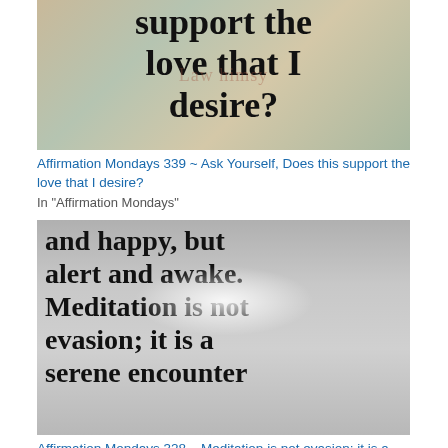[Figure (illustration): Cropped image showing large serif bold text 'support the love that I desire?' on a textured colorful background with 'Law himsy' watermark]
Affirmation Mondays 339 ~ Ask Yourself, Does this support the love that I desire?
In "Affirmation Mondays"
[Figure (illustration): Cropped image showing large serif bold text 'and happy, but alert and awake. Meditation is not evasion; it is a serene encounter' on a gray background with glowing eye/crescent shape]
Affirmation Mondays 328 – Meditation is not evasion; it is a serene